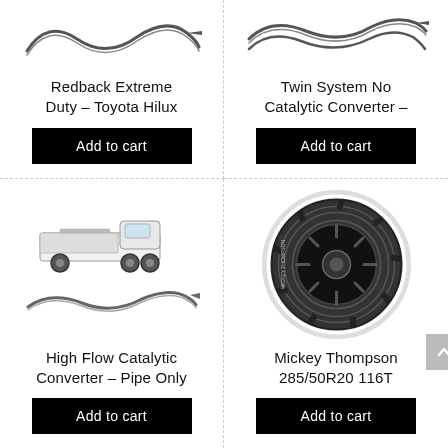[Figure (photo): Exhaust system pipe product image for Redback Extreme Duty - Toyota Hilux]
Redback Extreme Duty – Toyota Hilux
Add to cart
[Figure (photo): Twin exhaust system pipe product image for Twin System No Catalytic Converter]
Twin System No Catalytic Converter –
Add to cart
[Figure (photo): Toyota Land Cruiser 4WD truck and exhaust pipe product image for High Flow Catalytic Converter – Pipe Only]
High Flow Catalytic Converter – Pipe Only
Add to cart
[Figure (photo): Mickey Thompson all-terrain tire 285/50R20 116T product image]
Mickey Thompson 285/50R20 116T
Add to cart